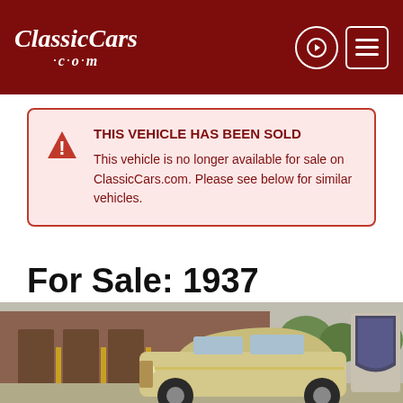ClassicCars.com
THIS VEHICLE HAS BEEN SOLD
This vehicle is no longer available for sale on ClassicCars.com. Please see below for similar vehicles.
For Sale: 1937 Packard 120 in O'Fallon, Illinois
[Figure (photo): Photo of a 1937 Packard 120 classic car parked outside a building, with a Packard shield badge visible]
[Figure (logo): Accessibility icon - wheelchair user symbol in black circle]